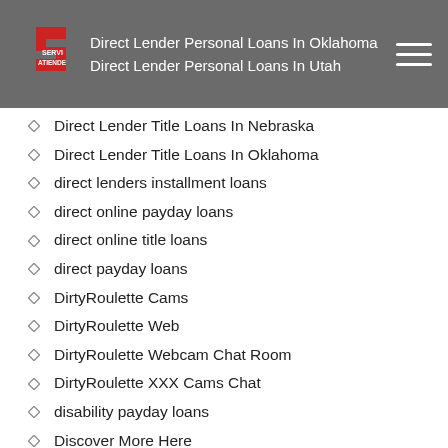Direct Lender Personal Loans In Oklahoma | Direct Lender Personal Loans In Utah
Direct Lender Title Loans In Nebraska
Direct Lender Title Loans In Oklahoma
direct lenders installment loans
direct online payday loans
direct online title loans
direct payday loans
DirtyRoulette Cams
DirtyRoulette Web
DirtyRoulette Webcam Chat Room
DirtyRoulette XXX Cams Chat
disability payday loans
Discover More Here
Discover Tids Info Here
discreet hookup app
dishwasher hookup kit
Disso…